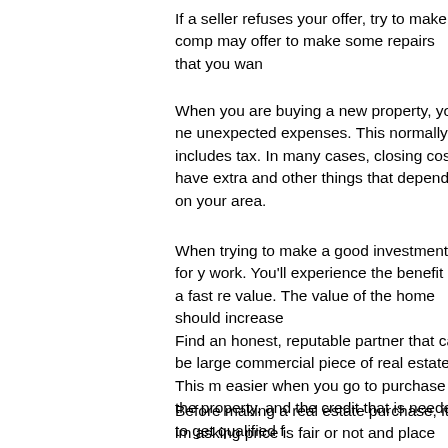If a seller refuses your offer, try to make comp may offer to make some repairs that you wan
When you are buying a new property, you ne unexpected expenses. This normally includes tax. In many cases, closing costs have extra and other things that depend on your area.
When trying to make a good investment for y work. You'll experience the benefit of a fast re value. The value of the home should increase
Find an honest, reputable partner that can be large commercial piece of real estate. This m easier when you go to purchase the property. and the credit that is needed to get qualified f
Before making a real estate purchase, it is im asking price is fair or not and place your offer seller, you can settle on a cost that is good fo